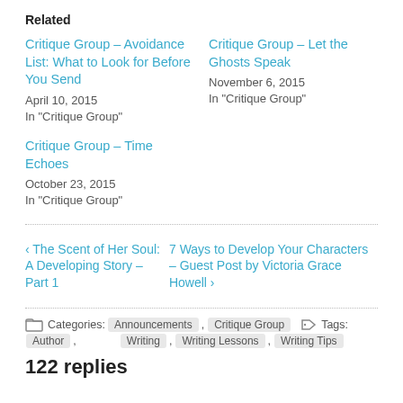Related
Critique Group – Avoidance List: What to Look for Before You Send
April 10, 2015
In "Critique Group"
Critique Group – Let the Ghosts Speak
November 6, 2015
In "Critique Group"
Critique Group – Time Echoes
October 23, 2015
In "Critique Group"
‹ The Scent of Her Soul: A Developing Story – Part 1
7 Ways to Develop Your Characters – Guest Post by Victoria Grace Howell ›
Categories: Announcements , Critique Group    Tags: Author , Writing , Writing Lessons , Writing Tips
122 replies